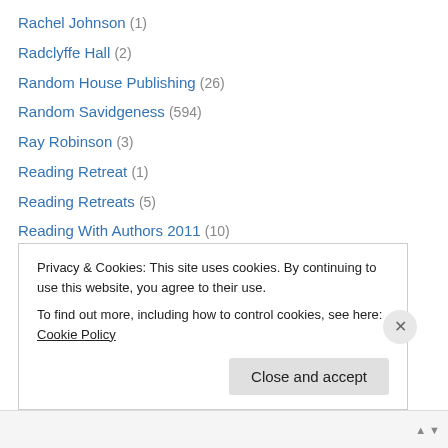Rachel Johnson (1)
Radclyffe Hall (2)
Random House Publishing (26)
Random Savidgeness (594)
Ray Robinson (3)
Reading Retreat (1)
Reading Retreats (5)
Reading With Authors 2011 (10)
Rebecca F. John (1)
Rebecca Hunt (1)
Rebecca Makkai (3)
Rebecca Miller (2)
Rebecca Skloot (1)
Privacy & Cookies: This site uses cookies. By continuing to use this website, you agree to their use. To find out more, including how to control cookies, see here: Cookie Policy
Close and accept